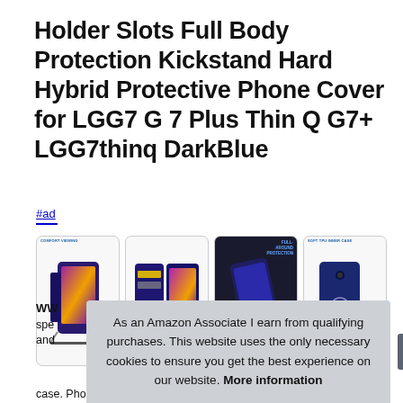Holder Slots Full Body Protection Kickstand Hard Hybrid Protective Phone Cover for LGG7 G 7 Plus Thin Q G7+ LGG7thinq DarkBlue
#ad
[Figure (photo): Four product images of a dark blue phone case for LG G7, showing front view with kickstand, wallet/card slot view, full body protection angle, and soft TPU inner case view.]
As an Amazon Associate I earn from qualifying purchases. This website uses the only necessary cookies to ensure you get the best experience on our website. More information
WW
spe
and
case. Phone function: for lg g7 thing / lg g7 wallet cases